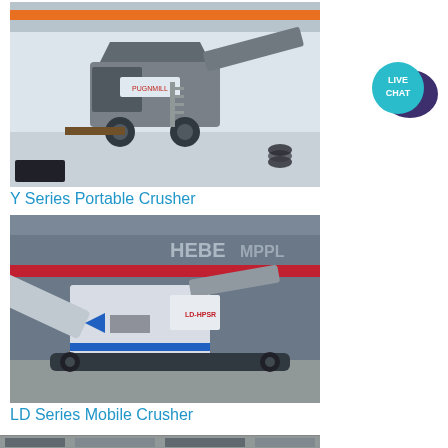[Figure (photo): Y Series Portable Crusher machine in a warehouse/factory building with orange overhead crane, grey metal floor]
Y Series Portable Crusher
[Figure (photo): LD Series Mobile Crusher on tracks parked outside in front of a grey-blue industrial building with signage]
LD Series Mobile Crusher
[Figure (photo): Partial view of another piece of heavy crushing machinery]
[Figure (infographic): Live Chat button - teal circle with speech bubble and text LIVE CHAT]